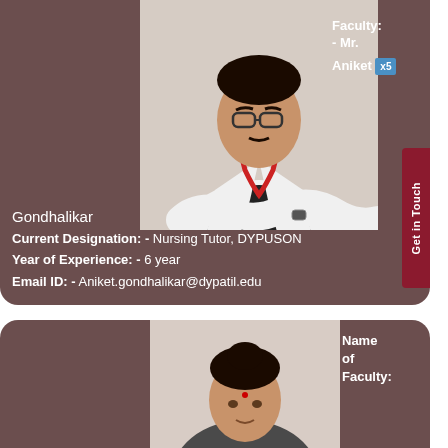[Figure (photo): Photo of Mr. Aniket Gondhalikar, a young man wearing glasses and a white doctor's coat with a red lanyard, arms crossed]
Faculty: - Mr. Aniket
Gondhalikar
Current Designation: - Nursing Tutor, DYPUSON
Year of Experience: - 6 year
Email ID: - Aniket.gondhalikar@dypatil.edu
[Figure (photo): Photo of a female faculty member, partial view showing head and shoulders]
Name of Faculty: